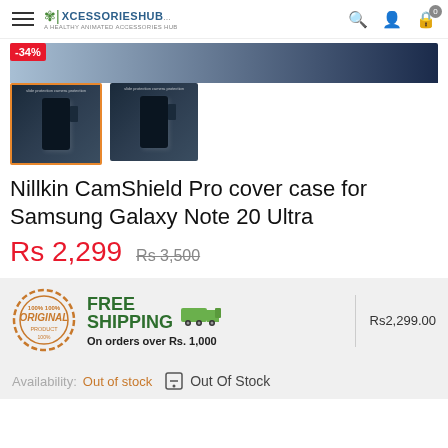XCESSORIESHUB — A HEALTHY ANIMATED ACCESSORIES HUB
[Figure (photo): Product images of Nillkin CamShield Pro cover case for Samsung Galaxy Note 20 Ultra with -34% discount badge]
Nillkin CamShield Pro cover case for Samsung Galaxy Note 20 Ultra
Rs 2,299  Rs 3,500
[Figure (infographic): Original badge, Free Shipping with truck icon, On orders over Rs. 1,000, Price Rs2,299.00]
Availability: Out of stock  Out Of Stock